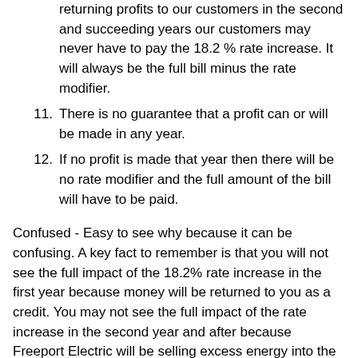returning profits to our customers in the second and succeeding years our customers may never have to pay the 18.2 % rate increase. It will always be the full bill minus the rate modifier.
11. There is no guarantee that a profit can or will be made in any year.
12. If no profit is made that year then there will be no rate modifier and the full amount of the bill will have to be paid.
Confused - Easy to see why because it can be confusing. A key fact to remember is that you will not see the full impact of the 18.2% rate increase in the first year because money will be returned to you as a credit. You may not see the full impact of the rate increase in the second year and after because Freeport Electric will be selling excess energy into the wholesale energy market and the profit from that sale will be returned to you as a